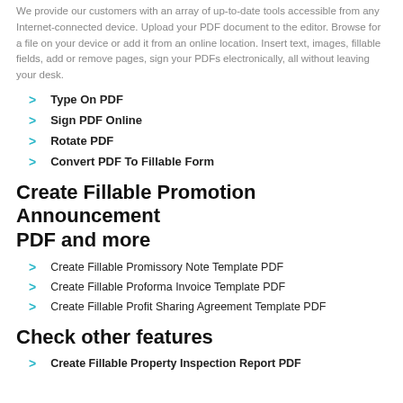We provide our customers with an array of up-to-date tools accessible from any Internet-connected device. Upload your PDF document to the editor. Browse for a file on your device or add it from an online location. Insert text, images, fillable fields, add or remove pages, sign your PDFs electronically, all without leaving your desk.
Type On PDF
Sign PDF Online
Rotate PDF
Convert PDF To Fillable Form
Create Fillable Promotion Announcement PDF and more
Create Fillable Promissory Note Template PDF
Create Fillable Proforma Invoice Template PDF
Create Fillable Profit Sharing Agreement Template PDF
Check other features
Create Fillable Property Inspection Report PDF